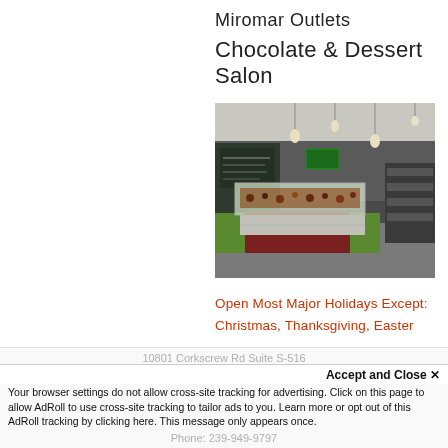Miromar Outlets
Chocolate & Dessert Salon
[Figure (photo): Interior of Chocolate & Dessert Salon showing a glass display case with chocolates and desserts, green accents on counters, pendant lights, chalkboard menus on the wall.]
Open Most Major Holidays Except:
Christmas, Thanksgiving, Easter
10801 Corkscrew Rd Suite S-516
Accept and Close ✕
Your browser settings do not allow cross-site tracking for advertising. Click on this page to allow AdRoll to use cross-site tracking to tailor ads to you. Learn more or opt out of this AdRoll tracking by clicking here. This message only appears once.
Phone: 239-949-9797